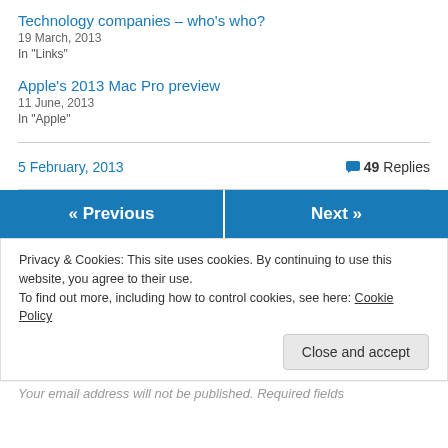Technology companies – who's who?
19 March, 2013
In "Links"
Apple's 2013 Mac Pro preview
11 June, 2013
In "Apple"
5 February, 2013
49 Replies
« Previous
Next »
Privacy & Cookies: This site uses cookies. By continuing to use this website, you agree to their use.
To find out more, including how to control cookies, see here: Cookie Policy
Close and accept
Your email address will not be published. Required fields